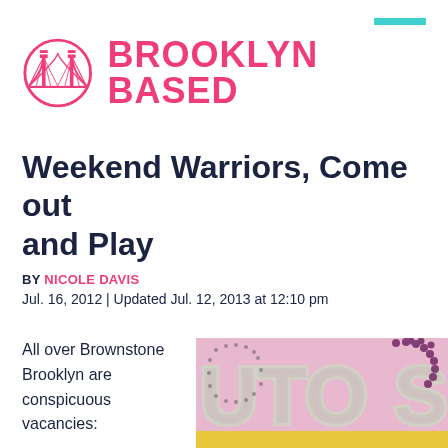Brooklyn Based
Weekend Warriors, Come out and Play
BY NICOLE DAVIS
Jul. 16, 2012 | Updated Jul. 12, 2013 at 12:10 pm
All over Brownstone Brooklyn are conspicuous vacancies:
[Figure (photo): Sign with large decorative bulb-outlined letters reading 'UTO SK' on a pink background with yellow strip at bottom, partial view of a roller skating rink sign]